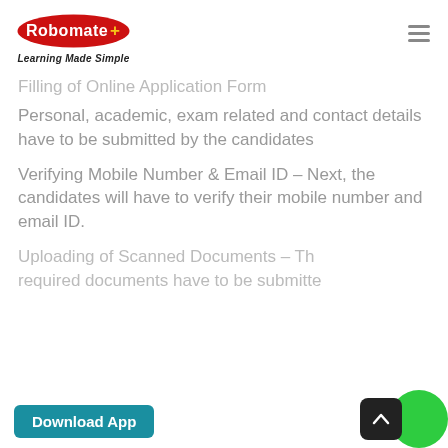Robomate+ Learning Made Simple
Filling of Online Application Form
Personal, academic, exam related and contact details have to be submitted by the candidates
Verifying Mobile Number & Email ID – Next, the candidates will have to verify their mobile number and email ID.
Uploading of Scanned Documents – The required documents have to be submitted